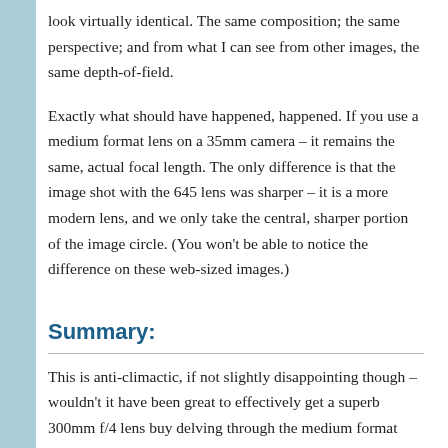look virtually identical. The same composition; the same perspective; and from what I can see from other images, the same depth-of-field.
Exactly what should have happened, happened. If you use a medium format lens on a 35mm camera – it remains the same, actual focal length. The only difference is that the image shot with the 645 lens was sharper – it is a more modern lens, and we only take the central, sharper portion of the image circle. (You won't be able to notice the difference on these web-sized images.)
Summary:
This is anti-climactic, if not slightly disappointing though – wouldn't it have been great to effectively get a superb 300mm f/4 lens buy delving through the medium format lenses on ebay? Unfortunately, the results didn't go the way the